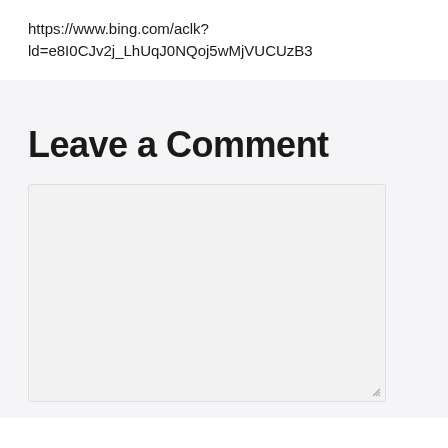https://www.bing.com/aclk?ld=e8I0CJv2j_LhUqJ0NQoj5wMjVUCUzB3
Leave a Comment
[Figure (other): Empty comment textarea input box with resize handle in bottom-right corner]